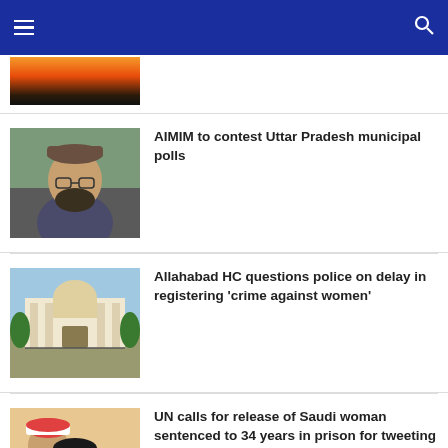Navigation header with menu and search icons
[Figure (photo): Partial news thumbnail showing a sunset image at top]
AIMIM to contest Uttar Pradesh municipal polls
[Figure (photo): Photo of a man with beard and glasses wearing a cap]
Allahabad HC questions police on delay in registering 'crime against women'
[Figure (photo): Photo of Allahabad High Court building exterior]
UN calls for release of Saudi woman sentenced to 34 years in prison for tweeting
[Figure (photo): Photo of a Saudi family with children]